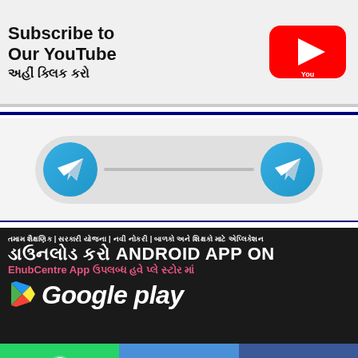[Figure (illustration): YouTube subscription banner with text 'Subscribe to Our YouTube અહીં ક્લિક કરો' and YouTube logo]
[Figure (illustration): Telegram channel join banner with two Telegram icons on a pill-shaped button]
[Figure (illustration): Android app download banner for EhubCentre App on Google Play with Gujarati and English text]
[Figure (illustration): Bottom social media bar with WhatsApp, Telegram, and Facebook icons]